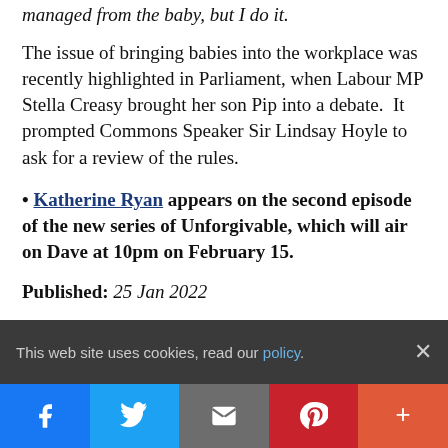managed from the baby, but I do it.
The issue of bringing babies into the workplace was recently highlighted in Parliament, when Labour MP Stella Creasy brought her son Pip into a debate. It prompted Commons Speaker Sir Lindsay Hoyle to ask for a review of the rules.
• Katherine Ryan appears on the second episode of the new series of Unforgivable, which will air on Dave at 10pm on February 15.
Published: 25 Jan 2022
This web site uses cookies, read our policy.
[Figure (infographic): Social media sharing buttons: Facebook (blue), Twitter (light blue), Email (grey), Pinterest (red), More (orange-red)]